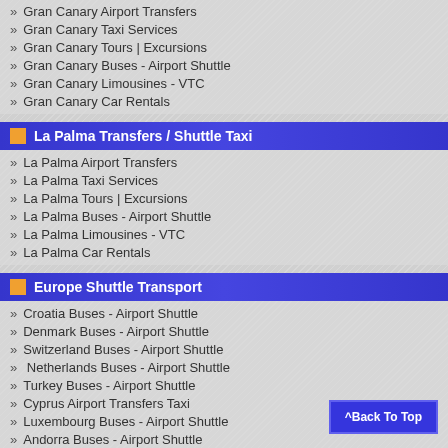Gran Canary Airport Transfers
Gran Canary Taxi Services
Gran Canary Tours | Excursions
Gran Canary Buses - Airport Shuttle
Gran Canary Limousines - VTC
Gran Canary Car Rentals
La Palma Transfers / Shuttle Taxi
La Palma Airport Transfers
La Palma Taxi Services
La Palma Tours | Excursions
La Palma Buses - Airport Shuttle
La Palma Limousines - VTC
La Palma Car Rentals
Europe Shuttle Transport
Croatia Buses - Airport Shuttle
Denmark Buses - Airport Shuttle
Switzerland Buses - Airport Shuttle
Netherlands Buses - Airport Shuttle
Turkey Buses - Airport Shuttle
Cyprus Airport Transfers Taxi
Luxembourg Buses - Airport Shuttle
Andorra Buses - Airport Shuttle
Malta Buses - Airport Shuttle